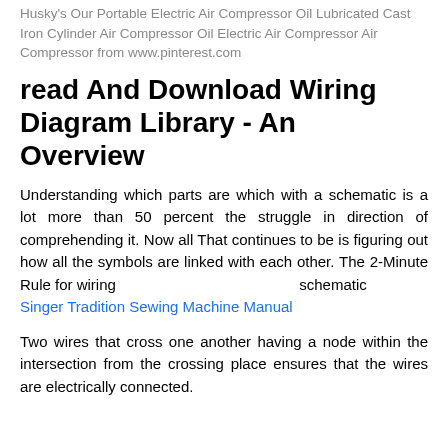Husky's Our Portable Electric Air Compressor Oil Lubricated Cast Iron Cylinder Air Compressor Oil Electric Air Compressor Air Compressor from www.pinterest.com
read And Download Wiring Diagram Library - An Overview
Understanding which parts are which with a schematic is a lot more than 50 percent the struggle in direction of comprehending it. Now all That continues to be is figuring out how all the symbols are linked with each other. The 2-Minute Rule for wiring schematic Singer Tradition Sewing Machine Manual
Two wires that cross one another having a node within the intersection from the crossing place ensures that the wires are electrically connected.